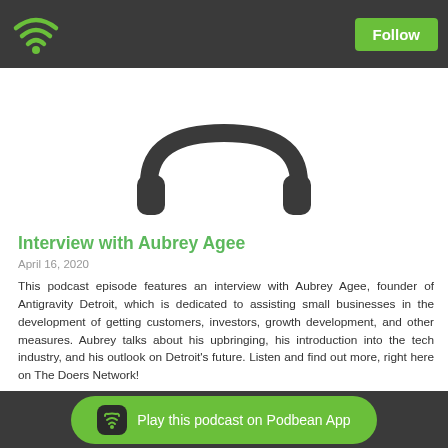Follow
[Figure (logo): Podcast cover image with dark headphone/logo silhouette on white background]
Interview with Aubrey Agee
April 16, 2020
This podcast episode features an interview with Aubrey Agee, founder of Antigravity Detroit, which is dedicated to assisting small businesses in the development of getting customers, investors, growth development, and other measures.  Aubrey talks about his upbringing, his introduction into the tech industry, and his outlook on Detroit's future.  Listen and find out more, right here on The Doers Network!
More information on Antigravity Detroit:  http://antigravitydetroit.com/
Visit us:  https://www.bamboodetroit.com/
If you would like to be a sponsor, email us at info@bamboodetroit.com
Play this podcast on Podbean App